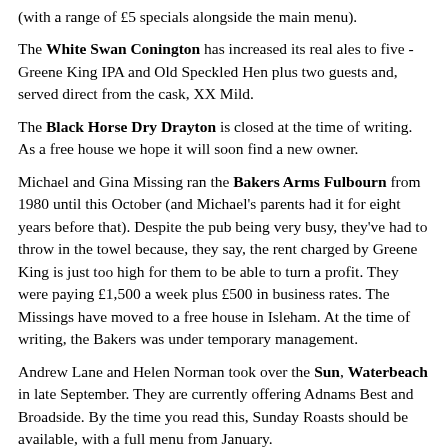(with a range of £5 specials alongside the main menu).
The White Swan Conington has increased its real ales to five - Greene King IPA and Old Speckled Hen plus two guests and, served direct from the cask, XX Mild.
The Black Horse Dry Drayton is closed at the time of writing. As a free house we hope it will soon find a new owner.
Michael and Gina Missing ran the Bakers Arms Fulbourn from 1980 until this October (and Michael's parents had it for eight years before that). Despite the pub being very busy, they've had to throw in the towel because, they say, the rent charged by Greene King is just too high for them to be able to turn a profit. They were paying £1,500 a week plus £500 in business rates. The Missings have moved to a free house in Isleham. At the time of writing, the Bakers was under temporary management.
Andrew Lane and Helen Norman took over the Sun, Waterbeach in late September. They are currently offering Adnams Best and Broadside. By the time you read this, Sunday Roasts should be available, with a full menu from January.
The Three Tuns Willingham is now in the hands of business partners Simon Morrice and Steven Allpress. They have previously worked in the restaurant business for both Baa and Bla...